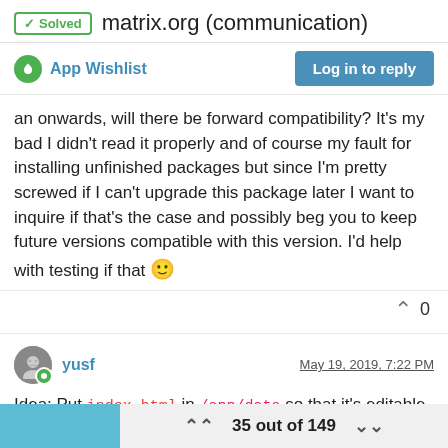✓ Solved   matrix.org (communication)
App Wishlist   Log in to reply
an onwards, will there be forward compatibility? It's my bad I didn't read it properly and of course my fault for installing unfinished packages but since I'm pretty screwed if I can't upgrade this package later I want to inquire if that's the case and possibly beg you to keep future versions compatible with this version. I'd help with testing if that 🙂
yusf   May 19, 2019, 7:22 PM
Idea: Put index.html in /app/data so that it's editable.
35 out of 149